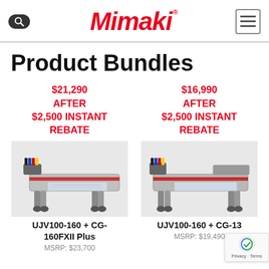Mimaki
Product Bundles
$21,290 AFTER $2,500 INSTANT REBATE
$16,990 AFTER $2,500 INSTANT REBATE
[Figure (photo): Mimaki UJV100-160 + CG-160FXII Plus printer/cutter bundle machine]
[Figure (photo): Mimaki UJV100-160 + CG-130 printer/cutter bundle machine]
UJV100-160 + CG-160FXII Plus
UJV100-160 + CG-13
MSRP: $19,490
MSRP: $23,700